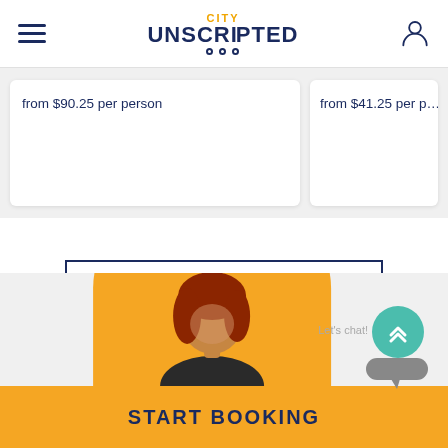City Unscripted – navigation header with hamburger menu and user icon
from $90.25 per person
from $41.25 per p…
SEE ALL EXPERIENCES IN MEDELLIN
Let's chat!
START BOOKING